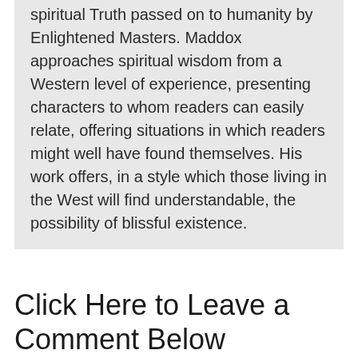spiritual Truth passed on to humanity by Enlightened Masters. Maddox approaches spiritual wisdom from a Western level of experience, presenting characters to whom readers can easily relate, offering situations in which readers might well have found themselves. His work offers, in a style which those living in the West will find understandable, the possibility of blissful existence.
Click Here to Leave a Comment Below